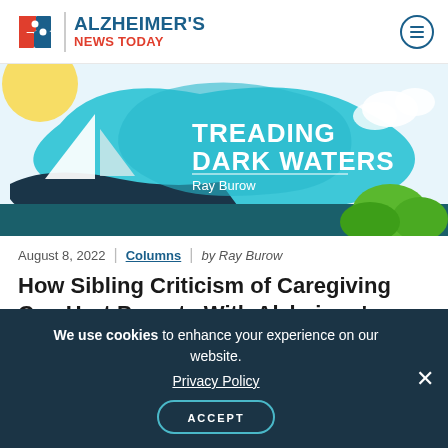ALZHEIMER'S NEWS TODAY
[Figure (illustration): Treading Dark Waters column banner illustration with sailboat, teal water shapes, clouds and green foliage. Text reads 'TREADING DARK WATERS' and 'Ray Burow']
August 8, 2022 | Columns | by Ray Burow
How Sibling Criticism of Caregiving Can Hurt Parents With Alzheimer's
We use cookies to enhance your experience on our website. Privacy Policy ACCEPT